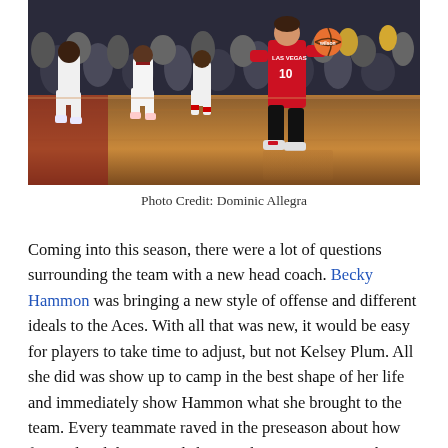[Figure (photo): Basketball game action photo showing a Las Vegas Aces player wearing number 10 in red uniform dribbling the ball on a hardwood court, with opposing players in white uniforms in the background and a crowd of spectators.]
Photo Credit: Dominic Allegra
Coming into this season, there were a lot of questions surrounding the team with a new head coach. Becky Hammon was bringing a new style of offense and different ideals to the Aces. With all that was new, it would be easy for players to take time to adjust, but not Kelsey Plum. All she did was show up to camp in the best shape of her life and immediately show Hammon what she brought to the team. Every teammate raved in the preseason about how focused and determined she was this year. Hammon knew right away that Plum's skillset would make her extremely valuable in her offense.